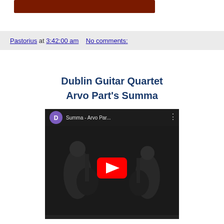[Figure (other): Dark red/maroon colored banner bar at top left]
Pastorius at 3:42:00 am    No comments:
Dublin Guitar Quartet
Arvo Part's Summa
[Figure (screenshot): YouTube video embed showing 'Summa - Arvo Par...' with two guitarists in dark suits playing classical guitars, with a red YouTube play button overlay]